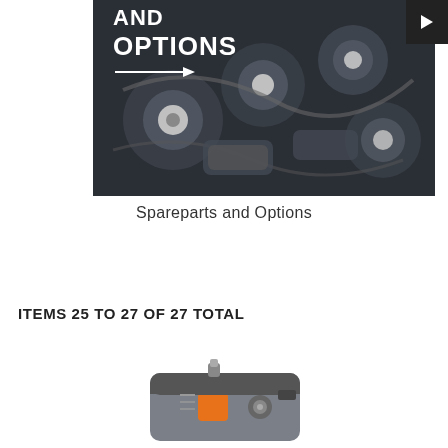[Figure (photo): Hero banner image showing mechanical spare parts and components (rotary sanders, pulleys, cables) on a dark background with 'AND OPTIONS' text overlay in white bold font and a white arrow pointing right]
Spareparts and Options
ITEMS 25 TO 27 OF 27 TOTAL
[Figure (photo): Product photo of a power tool (appears to be a battery pack or motor unit) in grey and orange colors, partially visible at the bottom of the page]